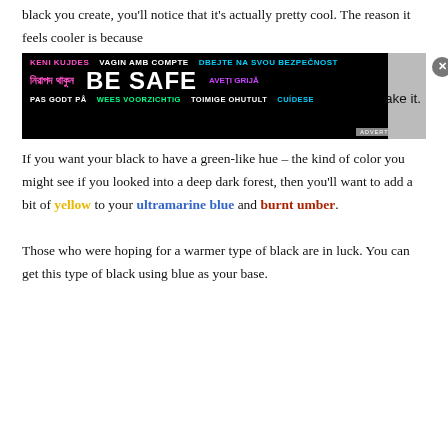black you create, you'll notice that it's actually pretty cool. The reason it feels cooler is because … ake it.
[Figure (other): Advertisement banner with black background showing 'BE SAFE' in large white bold text, with multilingual safety messages in various colors (pink, white, cyan, purple, green) in multiple scripts including Bengali and Latin. Close button (X) in top right. 'ADVERTISEMENT' label in bottom right.]
If you want your black to have a green-like hue – the kind of color you might see if you looked into a deep dark forest, then you'll want to add a bit of yellow to your ultramarine blue and burnt umber.
Those who were hoping for a warmer type of black are in luck. You can get this type of black using blue as your base.